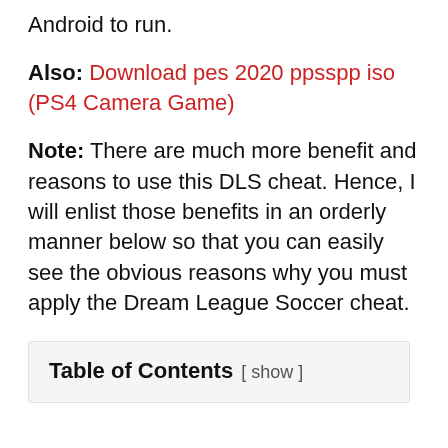Android to run.
Also: Download pes 2020 ppsspp iso (PS4 Camera Game)
Note: There are much more benefit and reasons to use this DLS cheat. Hence, I will enlist those benefits in an orderly manner below so that you can easily see the obvious reasons why you must apply the Dream League Soccer cheat.
Table of Contents [ show ]